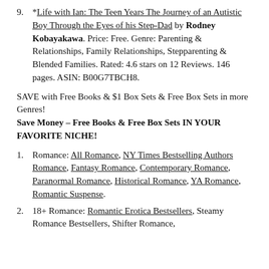9. *Life with Ian: The Teen Years The Journey of an Autistic Boy Through the Eyes of his Step-Dad by Rodney Kobayakawa. Price: Free. Genre: Parenting & Relationships, Family Relationships, Stepparenting & Blended Families. Rated: 4.6 stars on 12 Reviews. 146 pages. ASIN: B00G7TBCH8.
SAVE with Free Books & $1 Box Sets & Free Box Sets in more Genres!
Save Money – Free Books & Free Box Sets IN YOUR FAVORITE NICHE!
1. Romance: All Romance, NY Times Bestselling Authors Romance, Fantasy Romance, Contemporary Romance, Paranormal Romance, Historical Romance, YA Romance, Romantic Suspense.
2. 18+ Romance: Romantic Erotica Bestsellers, Steamy Romance Bestsellers, Shifter Romance,